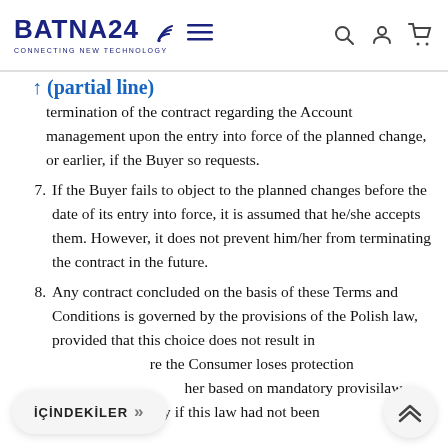BATNA24 CONNECTING NEW TECHNOLOGY [navigation icons]
termination of the contract regarding the Account management upon the entry into force of the planned change, or earlier, if the Buyer so requests.
7. If the Buyer fails to object to the planned changes before the date of its entry into force, it is assumed that he/she accepts them. However, it does not prevent him/her from terminating the contract in the future.
8. Any contract concluded on the basis of these Terms and Conditions is governed by the provisions of the Polish law, provided that this choice does not result in [re the Consumer loses protection [her based on mandatory provisi... law, which would apply if this law had not been